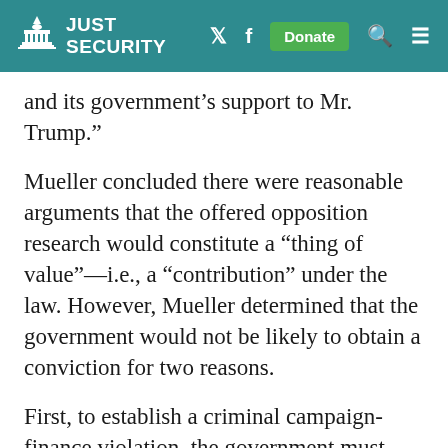JUST SECURITY
and its government’s support to Mr. Trump.”
Mueller concluded there were reasonable arguments that the offered opposition research would constitute a “thing of value”—i.e., a “contribution” under the law. However, Mueller determined that the government would not be likely to obtain a conviction for two reasons.
First, to establish a criminal campaign-finance violation, the government must prove beyond a reasonable doubt that the defendant acted “knowingly and willfully”—i.e., that the defendant knew this violated the law.